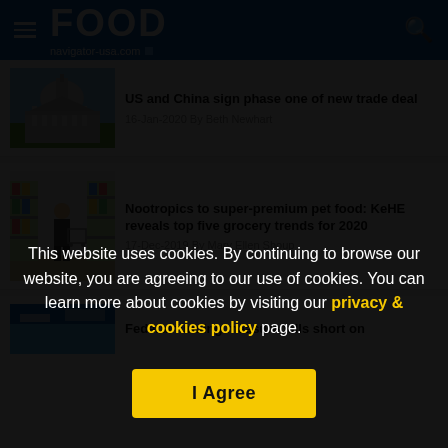FOOD navigator-usa.com
US and China sign phase one of new trade deal — 16-Jan-2020 By Beth Newhart
Nootropics to super-premium pet food: KeHE reveals top five grocery trends for 2020 — 17-Dec-2019 By Mary Ellen Shoup
Federal funding measure falls short on
This website uses cookies. By continuing to browse our website, you are agreeing to our use of cookies. You can learn more about cookies by visiting our privacy & cookies policy page.